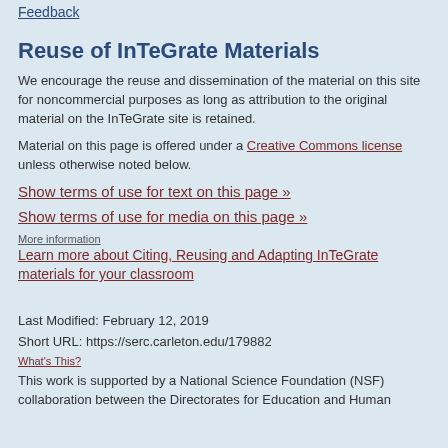Feedback
Reuse of InTeGrate Materials
We encourage the reuse and dissemination of the material on this site for noncommercial purposes as long as attribution to the original material on the InTeGrate site is retained.
Material on this page is offered under a Creative Commons license unless otherwise noted below.
Show terms of use for text on this page »
Show terms of use for media on this page »
More information
Learn more about Citing, Reusing and Adapting InTeGrate materials for your classroom
Last Modified: February 12, 2019
Short URL: https://serc.carleton.edu/179882
What's This?
This work is supported by a National Science Foundation (NSF) collaboration between the Directorates for Education and Human